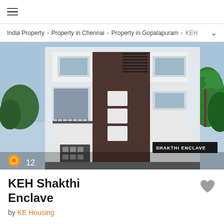≡
India Property > Property in Chennai > Property in Gopalapuram > KEH
[Figure (photo): Exterior photo of KEH Shakthi Enclave building - a multi-storey modern residential building with white and dark brown facade, showing balconies, windows, and 'SHAKTHI ENCLAVE' signage at the bottom. Camera icon and count '12' overlay visible at bottom left.]
KEH Shakthi Enclave
by KE Housing